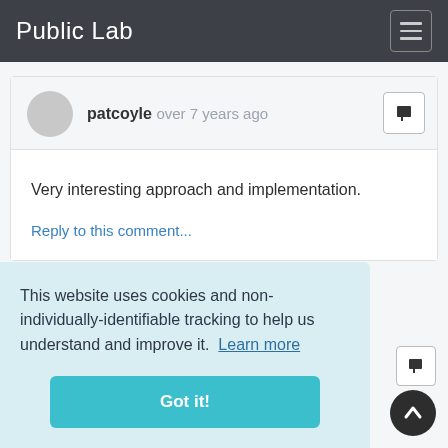Public Lab
patcoyle over 7 years ago
Very interesting approach and implementation.
Reply to this comment...
This website uses cookies and non-individually-identifiable tracking to help us understand and improve it. Learn more
Got it!